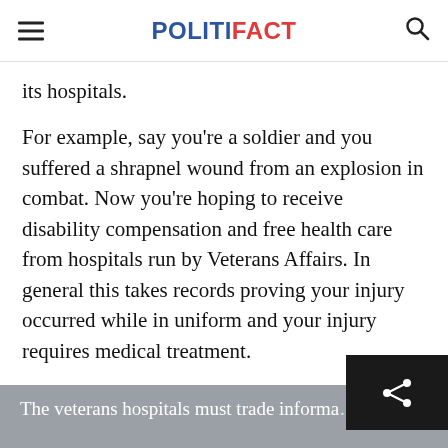POLITIFACT
its hospitals.
For example, say you're a soldier and you suffered a shrapnel wound from an explosion in combat. Now you're hoping to receive disability compensation and free health care from hospitals run by Veterans Affairs. In general this takes records proving your injury occurred while in uniform and your injury requires medical treatment.
The veterans hospitals must trade informa…